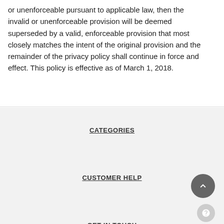or unenforceable pursuant to applicable law, then the invalid or unenforceable provision will be deemed superseded by a valid, enforceable provision that most closely matches the intent of the original provision and the remainder of the privacy policy shall continue in force and effect. This policy is effective as of March 1, 2018.
CATEGORIES
CUSTOMER HELP
GET IN TOUCH